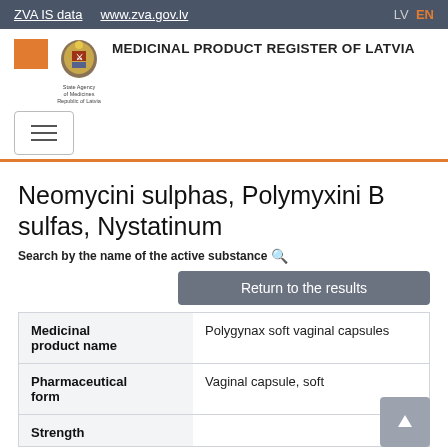ZVA IS data  www.zva.gov.lv  LV  EN
[Figure (logo): State Agency of Medicines Republic of Latvia coat of arms logo with text MEDICINAL PRODUCT REGISTER OF LATVIA]
Neomycini sulphas, Polymyxini B sulfas, Nystatinum
Search by the name of the active substance
Return to the results
| Medicinal product name | Polygynax soft vaginal capsules |
| Pharmaceutical form | Vaginal capsule, soft |
| Strength |  |